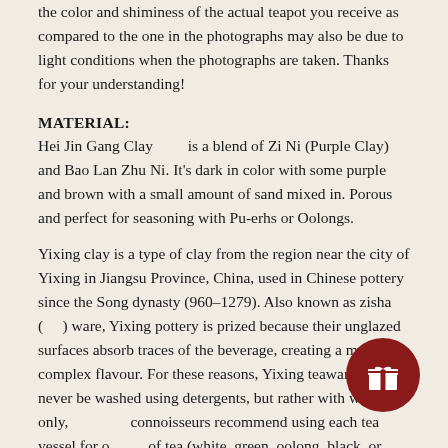the color and shiminess of the actual teapot you receive as compared to the one in the photographs may also be due to light conditions when the photographs are taken. Thanks for your understanding!
MATERIAL:
Hei Jin Gang Clay       is a blend of Zi Ni (Purple Clay) and Bao Lan Zhu Ni. It's dark in color with some purple and brown with a small amount of sand mixed in. Porous and perfect for seasoning with Pu-erhs or Oolongs.
Yixing clay is a type of clay from the region near the city of Yixing in Jiangsu Province, China, used in Chinese pottery since the Song dynasty (960–1279). Also known as zisha (     ) ware, Yixing pottery is prized because their unglazed surfaces absorb traces of the beverage, creating a more complex flavour. For these reasons, Yixing teawares should never be washed using detergents, but rather with water only, and connoisseurs recommend using each tea vessel for one type of tea (white, green, oolong, black, or puer) or sometimes even one variety of tea only.